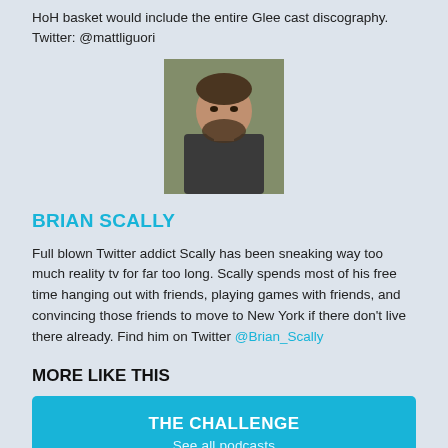HoH basket would include the entire Glee cast discography. Twitter: @mattliguori
[Figure (photo): Profile photo of Brian Scally, a man with dark beard and jacket, outdoors]
BRIAN SCALLY
Full blown Twitter addict Scally has been sneaking way too much reality tv for far too long. Scally spends most of his free time hanging out with friends, playing games with friends, and convincing those friends to move to New York if there don't live there already. Find him on Twitter @Brian_Scally
MORE LIKE THIS
THE CHALLENGE
See all podcasts
SUBSCRIBE TO REALITY TV RHAP UPS